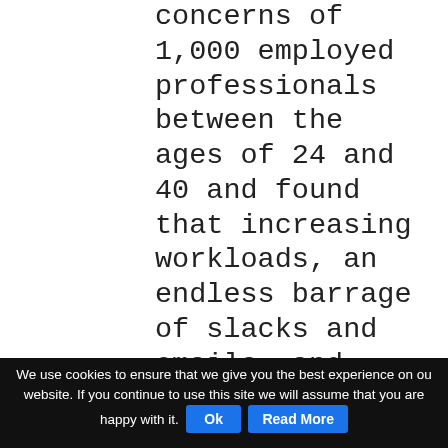concerns of 1,000 employed professionals between the ages of 24 and 40 and found that increasing workloads, an endless barrage of slacks and emails, and end-of-year deadlines are all contributing to professionals feeling exhausted. The study also took a look at the benefits that are actually helping professionals to thrive and tackle burnout, and those benefits that could make a large impact on recruiting and retention efforts.
We use cookies to ensure that we give you the best experience on our website. If you continue to use this site we will assume that you are happy with it. Ok Read More